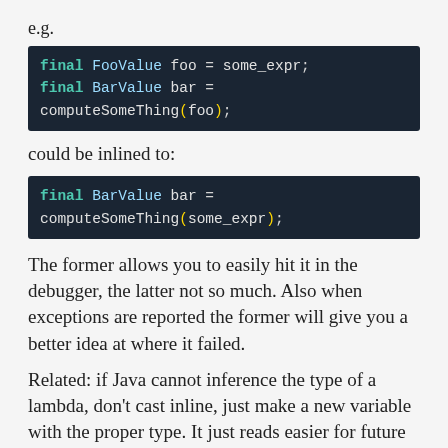e.g.
[Figure (screenshot): Code block: final FooValue foo = some_expr; final BarValue bar = computeSomeThing(foo);]
could be inlined to:
[Figure (screenshot): Code block: final BarValue bar = computeSomeThing(some_expr);]
The former allows you to easily hit it in the debugger, the latter not so much. Also when exceptions are reported the former will give you a better idea at where it failed.
Related: if Java cannot inference the type of a lambda, don’t cast inline, just make a new variable with the proper type. It just reads easier for future you (see below).
Use enums instead of booleans. The name of the enum tells you more specifically what something